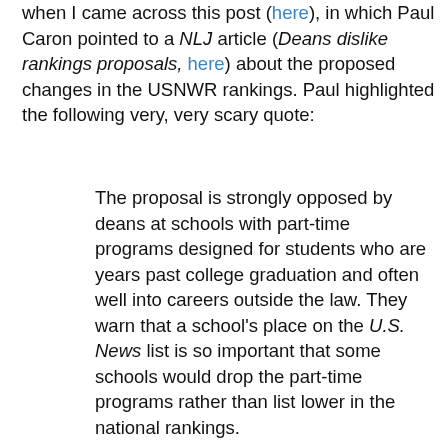when I came across this post (here), in which Paul Caron pointed to a NLJ article (Deans dislike rankings proposals, here) about the proposed changes in the USNWR rankings. Paul highlighted the following very, very scary quote:
The proposal is strongly opposed by deans at schools with part-time programs designed for students who are years past college graduation and often well into careers outside the law.  They warn that a school's place on the U.S. News list is so important that some schools would drop the part-time programs rather than list lower in the national rankings.
(Hat-tip to Paul for focusing us on this quote.)  But there's more.  In the very next paragraph of the article, Bill Treanor, the dean of Fordham Law School, clarifies how this change to the USNWR rankings would affect schools with part-time programs:
"If U.S. News starts combining the [LSAT and UGPA] scores of full-time and part-time students, the pressure to end evening schools will become